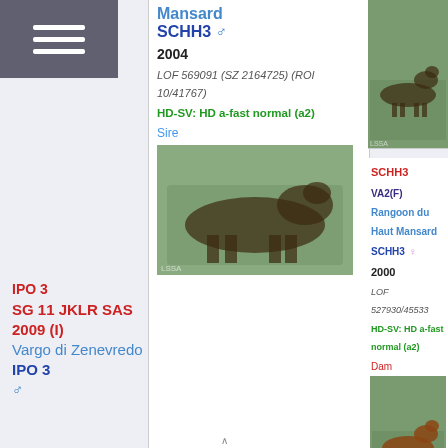[Figure (other): Hamburger menu icon with three white horizontal lines on dark background]
Mansard SCHH3 ♂
2004
LOF 569091 (SZ 2164725) (ROI 10/41767)
HD-SV: HD a-fast normal (a2)
Sire
[Figure (photo): German Shepherd dog standing in profile on grass - Sire photo]
[Figure (photo): German Shepherd dog standing in profile - top right photo]
SCHH3
VA2(F) Rangoon du Haut Mansard SCHH3 ♀
2000
LOF 527930/45533
HD-SV: HD a-fast normal (a2)
Dam
[Figure (photo): German Shepherd dog standing in profile - Dam photo]
IPO 3
SG 11 JKLR SAS 2009 (I) Vargo di Zenevredo IPO 3 ♂